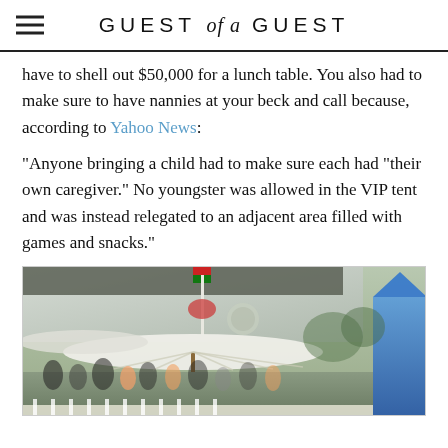GUEST of a GUEST
have to shell out $50,000 for a lunch table. You also had to make sure to have nannies at your beck and call because, according to Yahoo News:
"Anyone bringing a child had to make sure each had "their own caregiver." No youngster was allowed in the VIP tent and was instead relegated to an adjacent area filled with games and snacks."
[Figure (photo): Outdoor event venue with large white umbrella/canopy structure, tents, people gathered in background, white fence, trees, and blue tent visible on right side.]